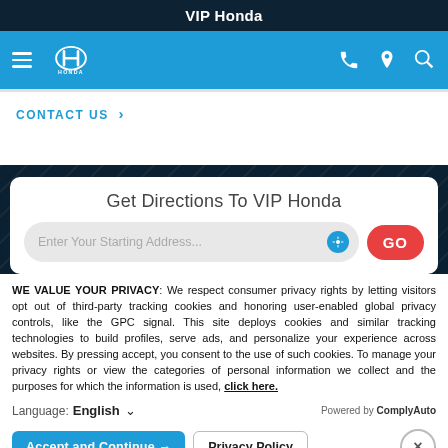VIP Honda
[Figure (screenshot): Honda dealership navigation bar with hamburger menu, Honda logo, phone, location, and search icons on blue background]
CONTACT US >
Get Directions To VIP Honda
Enter Your Starting Address... GO
WE VALUE YOUR PRIVACY: We respect consumer privacy rights by letting visitors opt out of third-party tracking cookies and honoring user-enabled global privacy controls, like the GPC signal. This site deploys cookies and similar tracking technologies to build profiles, serve ads, and personalize your experience across websites. By pressing accept, you consent to the use of such cookies. To manage your privacy rights or view the categories of personal information we collect and the purposes for which the information is used, click here.
Language: English  Powered by ComplyAuto
Accept and Continue → Privacy Policy ×